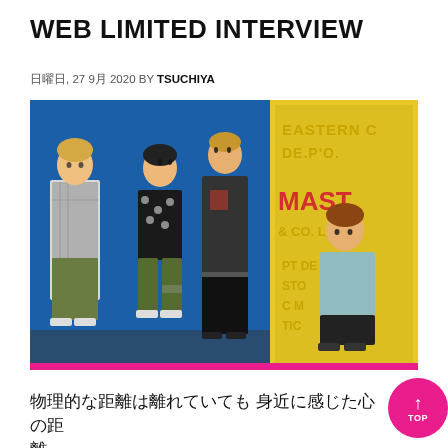WEB LIMITED INTERVIEW
日曜日, 27 9月 2020 BY TSUCHIYA
[Figure (photo): Four young men posing in front of a blue wall and yellow signage reading EASTERN CO, DEPOT, MASTER & CO. LTD. The men wear casual/streetwear fashion. A pink strip appears along the bottom edge of the photo.]
物理的な距離は離れていても 身近に感じた心の距離